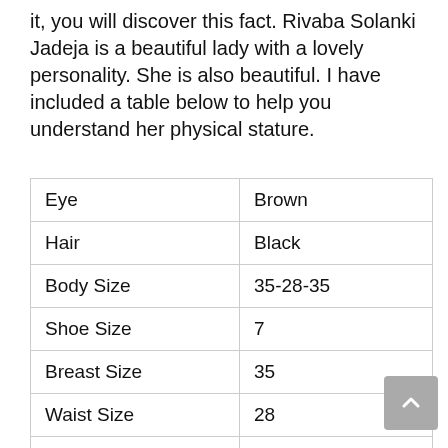it, you will discover this fact. Rivaba Solanki Jadeja is a beautiful lady with a lovely personality. She is also beautiful. I have included a table below to help you understand her physical stature.
| Eye | Brown |
| Hair | Black |
| Body Size | 35-28-35 |
| Shoe Size | 7 |
| Breast Size | 35 |
| Waist Size | 28 |
| Hips Size | 35 |